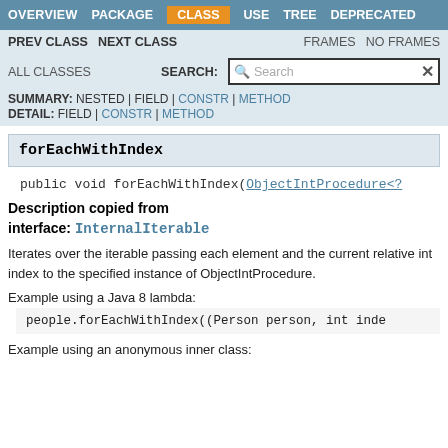OVERVIEW  PACKAGE  CLASS  USE  TREE  DEPRECATED
PREV CLASS  NEXT CLASS  FRAMES  NO FRAMES
ALL CLASSES  SEARCH:
SUMMARY: NESTED | FIELD | CONSTR | METHOD
DETAIL: FIELD | CONSTR | METHOD
forEachWithIndex
public void forEachWithIndex(ObjectIntProcedure<?
Description copied from interface: InternalIterable
Iterates over the iterable passing each element and the current relative int index to the specified instance of ObjectIntProcedure.
Example using a Java 8 lambda:
people.forEachWithIndex((Person person, int inde
Example using an anonymous inner class: